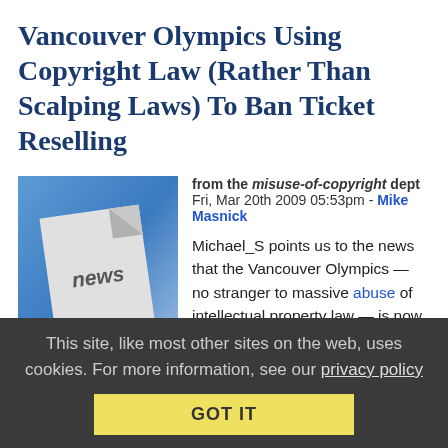Vancouver Olympics Using Copyright Law (Rather Than Scalping Laws) To Ban Ticket Reselling
[Figure (illustration): Newspaper graphic with a folded paper showing 'news' label on a blue background]
News You Could Do Without
from the misuse-of-copyright dept
Fri, Mar 20th 2009 05:53pm - Mike Masnick
Michael_S points us to the news that the Vancouver Olympics — no stranger to massive abuse of intellectual property law — is now using copyright law to prevent ticket resales. Now, lots of places around the world have anti-scalping laws that forbid reselling of event tickets (or reselling them above a certain price). Vancouver, however, does not have any such law. No problem for the Olympics folks — they're using the
This site, like most other sites on the web, uses cookies. For more information, see our privacy policy